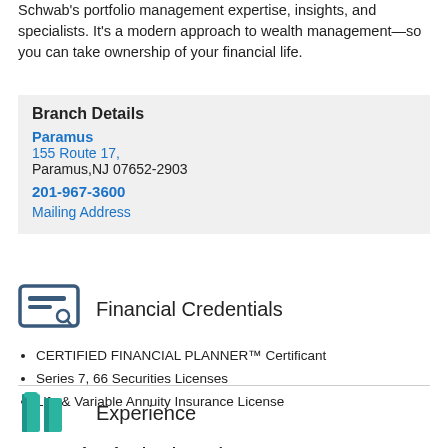Schwab's portfolio management expertise, insights, and specialists. It's a modern approach to wealth management—so you can take ownership of your financial life.
Branch Details
Paramus
155 Route 17,
Paramus,NJ 07652-2903
201-967-3600
Mailing Address
Financial Credentials
CERTIFIED FINANCIAL PLANNER™ Certificant
Series 7, 66 Securities Licenses
Life & Variable Annuity Insurance License
Experience
7 years of professional experience